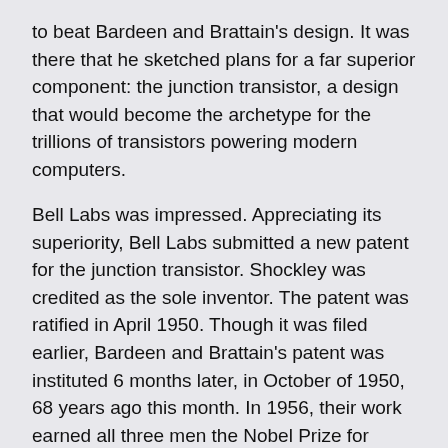to beat Bardeen and Brattain's design. It was there that he sketched plans for a far superior component: the junction transistor, a design that would become the archetype for the trillions of transistors powering modern computers.
Bell Labs was impressed. Appreciating its superiority, Bell Labs submitted a new patent for the junction transistor. Shockley was credited as the sole inventor. The patent was ratified in April 1950. Though it was filed earlier, Bardeen and Brattain's patent was instituted 6 months later, in October of 1950, 68 years ago this month. In 1956, their work earned all three men the Nobel Prize for physics.
The birth of Silicon Valley
AT&T unveiled the junction transistor in 1948, shortly after the patent was filed. The company began mass production on the component and used it to upgrade